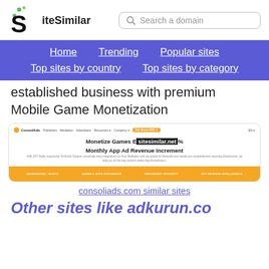SiteSimilar — Search a domain
Home | Trending | Popular sites | Top sites by country | Top sites by category
established business with premium Mobile Game Monetization
[Figure (screenshot): Screenshot of consoliads.com showing headline 'Monetize Games Efficiently% Monthly App Ad Revenue Increment' with navigation bar and orange stats section]
consoliads.com similar sites
Other sites like adkurun.co